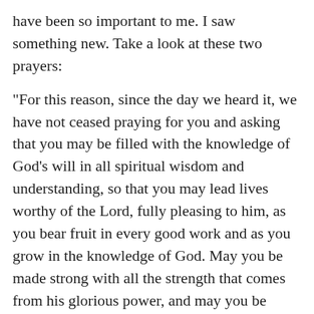have been so important to me. I saw something new. Take a look at these two prayers:
“For this reason, since the day we heard it, we have not ceased praying for you and asking that you may be filled with the knowledge of God’s will in all spiritual wisdom and understanding, so that you may lead lives worthy of the Lord, fully pleasing to him, as you bear fruit in every good work and as you grow in the knowledge of God. May you be made strong with all the strength that comes from his glorious power, and may you be prepared to endure everything with patience, while joyfully giving thanks to the Father, who has enabled you to share in the inheritance of the saints in the light” (Colossians 1:9-12).
“And this is my prayer, that your love may overflow more